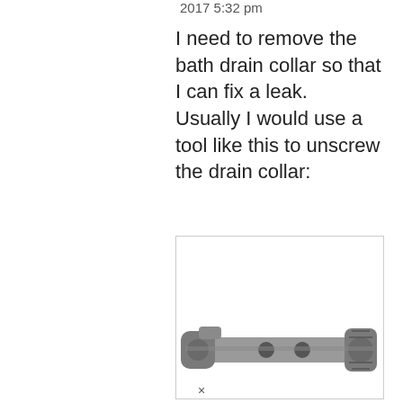2017 5:32 pm
I need to remove the bath drain collar so that I can fix a leak.
Usually I would use a tool like this to unscrew the drain collar:
[Figure (photo): A metal bath drain removal tool (drain key/wrench) shown in grayscale — a flat bar-like tool with cylindrical end fittings and holes, used to unscrew drain collars.]
×